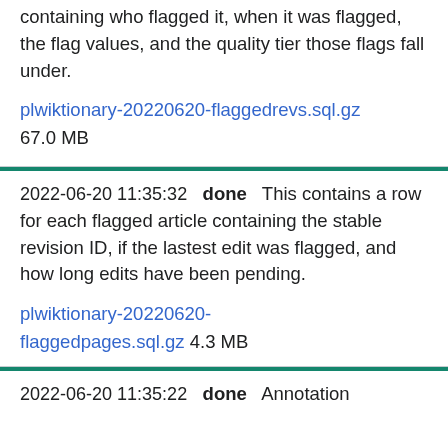containing who flagged it, when it was flagged, the flag values, and the quality tier those flags fall under.
plwiktionary-20220620-flaggedrevs.sql.gz 67.0 MB
2022-06-20 11:35:32   done   This contains a row for each flagged article containing the stable revision ID, if the lastest edit was flagged, and how long edits have been pending.
plwiktionary-20220620-flaggedpages.sql.gz 4.3 MB
2022-06-20 11:35:22   done   Annotation